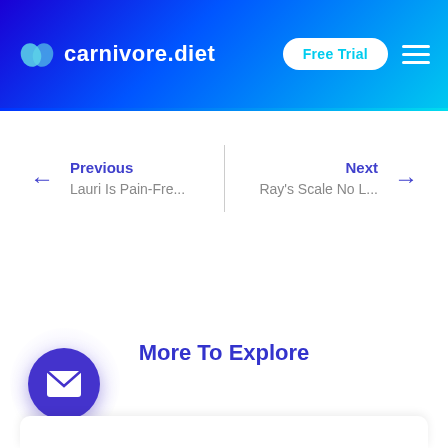[Figure (screenshot): carnivore.diet website header with logo, Free Trial button, and hamburger menu on a blue-to-cyan gradient background]
← Previous
Lauri Is Pain-Fre...
Next →
Ray's Scale No L...
More To Explore
[Figure (illustration): Purple circular email/envelope FAB button in bottom-left corner]